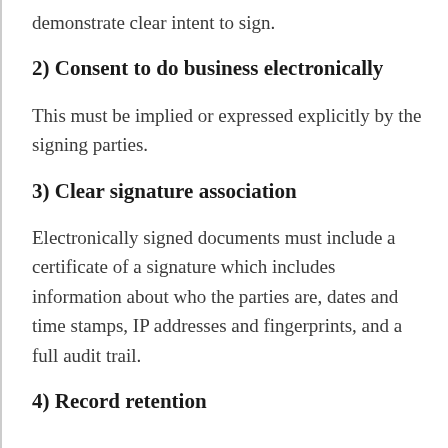demonstrate clear intent to sign.
2) Consent to do business electronically
This must be implied or expressed explicitly by the signing parties.
3) Clear signature association
Electronically signed documents must include a certificate of a signature which includes information about who the parties are, dates and time stamps, IP addresses and fingerprints, and a full audit trail.
4) Record retention